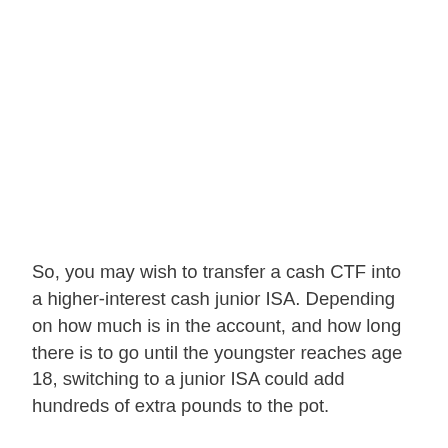So, you may wish to transfer a cash CTF into a higher-interest cash junior ISA. Depending on how much is in the account, and how long there is to go until the youngster reaches age 18, switching to a junior ISA could add hundreds of extra pounds to the pot.